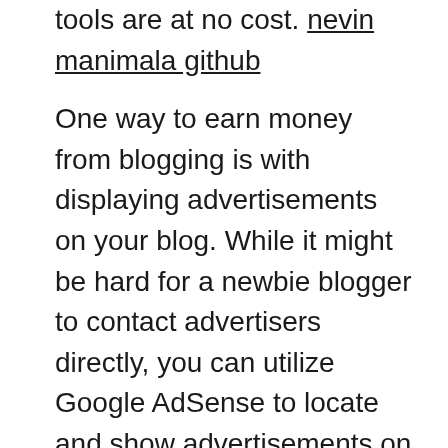tools are at no cost. nevin manimala github
One way to earn money from blogging is with displaying advertisements on your blog. While it might be hard for a newbie blogger to contact advertisers directly, you can utilize Google AdSense to locate and show advertisements on your blog site. Once you accumulate adequate authority in your niche, lucrative possibilities will be extra apparent. Besides showing promotions, you can additionally monetize your blog via associate advertising and marketing. Affiliate marketing is a preferred way of generating income from blogging, bloggers can market ad space, market memberships, as well as advise items to visitors.